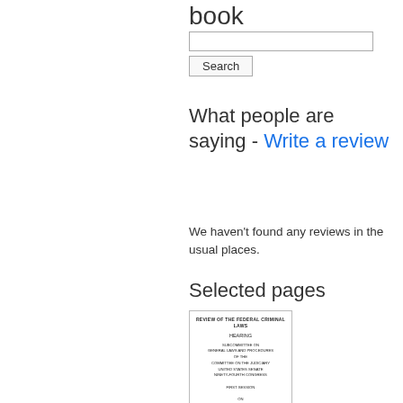book
What people are saying - Write a review
We haven't found any reviews in the usual places.
Selected pages
[Figure (illustration): Thumbnail image of a book cover titled 'Review of the Federal Criminal Laws', showing a hearing document from a subcommittee on general laws and procedures of the Committee on the Judiciary, United States Senate.]